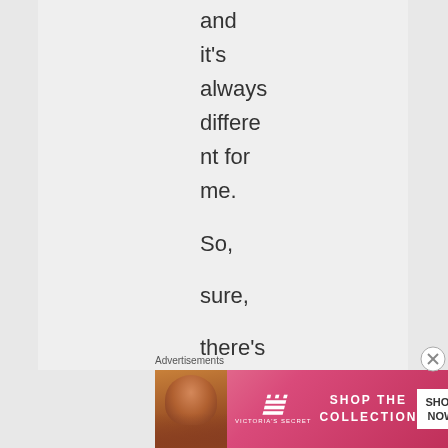and
it's
always
differe
nt for
me.

So,

sure,

there's

that

precio

us

novelt
Advertisements
[Figure (other): Victoria's Secret advertisement banner with model, VS logo, and 'SHOP THE COLLECTION / SHOP NOW' call to action]